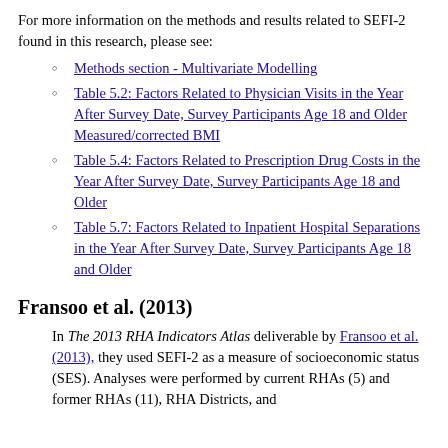For more information on the methods and results related to SEFI-2 found in this research, please see:
Methods section - Multivariate Modelling
Table 5.2: Factors Related to Physician Visits in the Year After Survey Date, Survey Participants Age 18 and Older Measured/corrected BMI
Table 5.4: Factors Related to Prescription Drug Costs in the Year After Survey Date, Survey Participants Age 18 and Older
Table 5.7: Factors Related to Inpatient Hospital Separations in the Year After Survey Date, Survey Participants Age 18 and Older
Fransoo et al. (2013)
In The 2013 RHA Indicators Atlas deliverable by Fransoo et al. (2013), they used SEFI-2 as a measure of socioeconomic status (SES). Analyses were performed by current RHAs (5) and former RHAs (11), RHA Districts, and